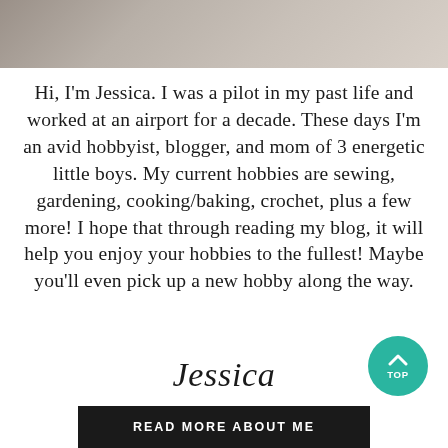[Figure (photo): Cropped photo of a woman (Jessica) at the top of the page, showing partial torso and background]
Hi, I'm Jessica. I was a pilot in my past life and worked at an airport for a decade. These days I'm an avid hobbyist, blogger, and mom of 3 energetic little boys. My current hobbies are sewing, gardening, cooking/baking, crochet, plus a few more! I hope that through reading my blog, it will help you enjoy your hobbies to the fullest! Maybe you'll even pick up a new hobby along the way.
Jessica
READ MORE ABOUT ME